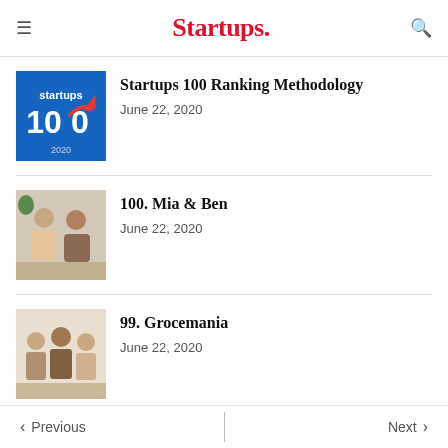Startups.
[Figure (screenshot): Startups 100 ranking methodology article thumbnail — blue background with '100' text and red arrow graphic]
Startups 100 Ranking Methodology
June 22, 2020
[Figure (photo): Two people working together at a desk in an office, woman and man with glasses]
100. Mia & Ben
June 22, 2020
[Figure (photo): Three people posing together, smiling, in casual clothes]
99. Grocemania
June 22, 2020
Load more articles
Previous  Next